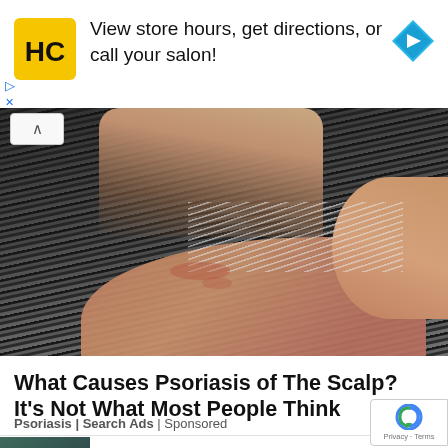[Figure (infographic): Advertisement banner: HC salon logo (yellow square with HC letters), text 'View store hours, get directions, or call your salon!', blue navigation diamond icon on right]
[Figure (photo): Close-up photo of a person's scalp/neck area showing gray and dark hair, with fingers touching the scalp area showing skin condition (psoriasis), and an ear visible on the right side]
What Causes Psoriasis of The Scalp? It's Not What Most People Think
Psoriasis | Search Ads | Sponsored